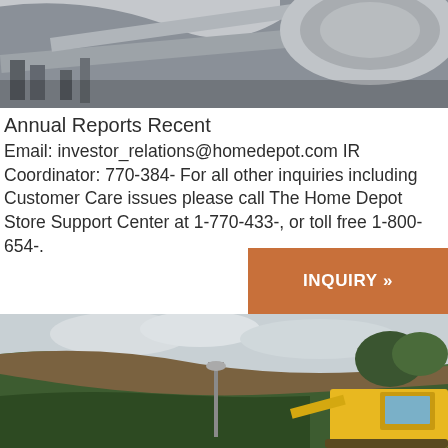[Figure (photo): Close-up of metal structural components, likely steel beams or brackets, viewed from below against a light background.]
Annual Reports Recent
Email: investor_relations@homedepot.com IR Coordinator: 770-384- For all other inquiries including Customer Care issues please call The Home Depot Store Support Center at 1-770-433-, or toll free 1-800-654-.
[Figure (other): Orange button with white bold text reading INQUIRY »]
[Figure (photo): Outdoor scene showing a steep hillside with green vegetation and exposed earth/rock, with a yellow construction vehicle (excavator) in the lower right and a light pole in the center, under an overcast sky.]